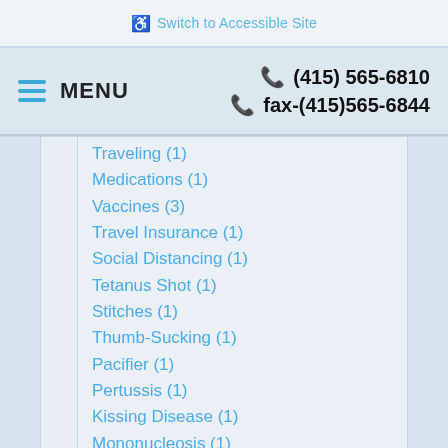♿ Switch to Accessible Site
≡ MENU   📞 (415) 565-6810   📞 fax-(415)565-6844
Traveling (1)
Medications (1)
Vaccines (3)
Travel Insurance (1)
Social Distancing (1)
Tetanus Shot (1)
Stitches (1)
Thumb-Sucking (1)
Pacifier (1)
Pertussis (1)
Kissing Disease (1)
Mononucleosis (1)
Nutritional Advice (1)
Nutritional Needs (1)
Immunization Schedule (1)
Immunization (1)